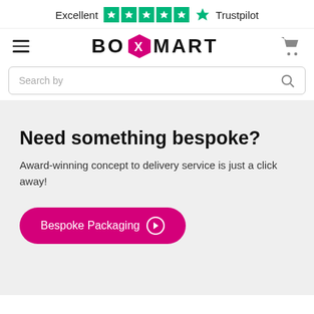[Figure (logo): Trustpilot rating bar showing 'Excellent' with 5 green stars and Trustpilot logo]
[Figure (logo): BoxMart logo with pink hexagon containing white X, bold black uppercase text BOXMART]
Search by
Need something bespoke?
Award-winning concept to delivery service is just a click away!
Bespoke Packaging